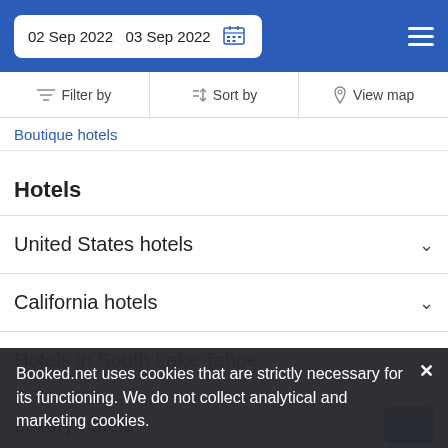02 Sep 2022  03 Sep 2022
Filter by  Sort by  View map
Boutique hotels
Hotels
United States hotels
California hotels
Hotels in South Lake Tahoe
Luxury hotels
Booked.net uses cookies that are strictly necessary for its functioning. We do not collect analytical and marketing cookies.
DESTINATIONS